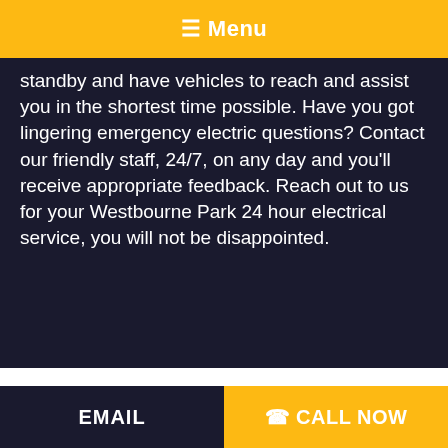☰ Menu
standby and have vehicles to reach and assist you in the shortest time possible. Have you got lingering emergency electric questions? Contact our friendly staff, 24/7, on any day and you'll receive appropriate feedback. Reach out to us for your Westbourne Park 24 hour electrical service, you will not be disappointed.
EMAIL   ☎ CALL NOW